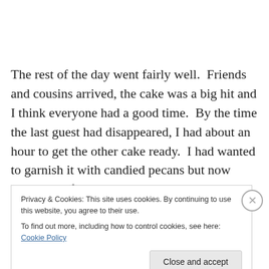The rest of the day went fairly well.  Friends and cousins arrived, the cake was a big hit and I think everyone had a good time.  By the time the last guest had disappeared, I had about an hour to get the other cake ready.  I had wanted to garnish it with candied pecans but now wondered if it were worth the trouble.  But I had come this far and apparently I am a glutton for punishment.  I got out
Privacy & Cookies: This site uses cookies. By continuing to use this website, you agree to their use.
To find out more, including how to control cookies, see here: Cookie Policy
Close and accept